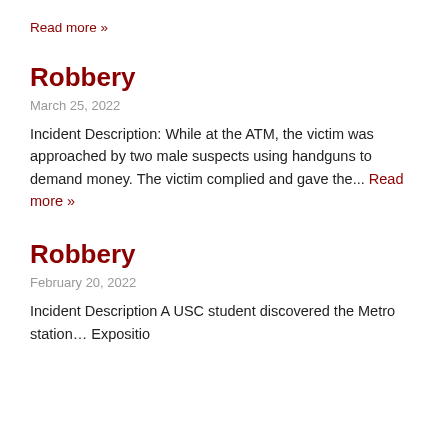Read more »
Robbery
March 25, 2022
Incident Description: While at the ATM, the victim was approached by two male suspects using handguns to demand money. The victim complied and gave the... Read more »
Robbery
February 20, 2022
Incident Description A USC student discovered the Metro station... Exposition...